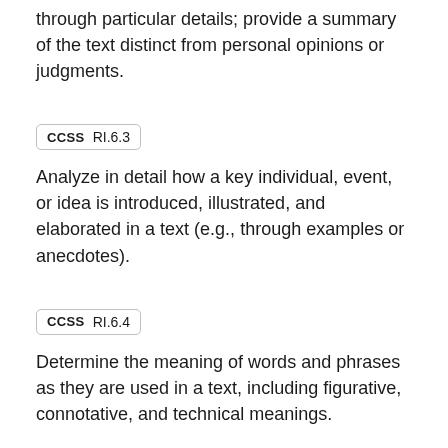through particular details; provide a summary of the text distinct from personal opinions or judgments.
CCSS  RI.6.3
Analyze in detail how a key individual, event, or idea is introduced, illustrated, and elaborated in a text (e.g., through examples or anecdotes).
CCSS  RI.6.4
Determine the meaning of words and phrases as they are used in a text, including figurative, connotative, and technical meanings.
NGSS  MS-ESS2-5
Collect data to provide evidence for how the motions and complex interactions of air masses result in changes in weather conditions. Emphasis is on how air masses flow from regions of high pressure to low pressure, causing